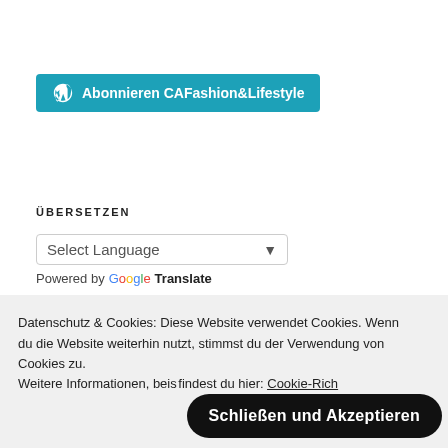[Figure (logo): WordPress subscribe button: blue rounded rectangle with WordPress logo icon and text 'Abonnieren CAFashion&Lifestyle']
ÜBERSETZEN
[Figure (screenshot): Google Translate widget with 'Select Language' dropdown and 'Powered by Google Translate' label]
Datenschutz & Cookies: Diese Website verwendet Cookies. Wenn du die Website weiterhin nutzt, stimmst du der Verwendung von Cookies zu.
Weitere Informationen, beis findest du hier: Cookie-Rich
[Figure (other): Black rounded button with white text: Schließen und Akzeptieren]